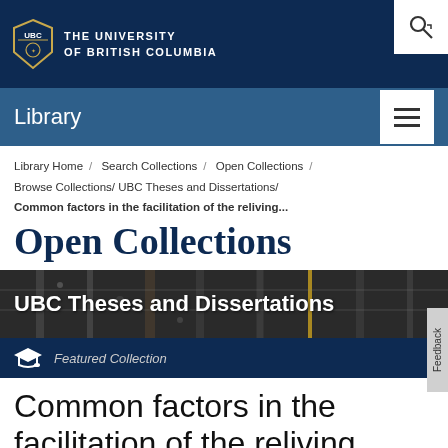[Figure (logo): UBC shield logo with text THE UNIVERSITY OF BRITISH COLUMBIA on dark navy background]
Library
Library Home / Search Collections / Open Collections / Browse Collections / UBC Theses and Dissertations /
Common factors in the facilitation of the reliving...
Open Collections
[Figure (photo): Dark photo of library stacks/shelves forming banner background with text UBC Theses and Dissertations]
Featured Collection
Common factors in the facilitation of the reliving process